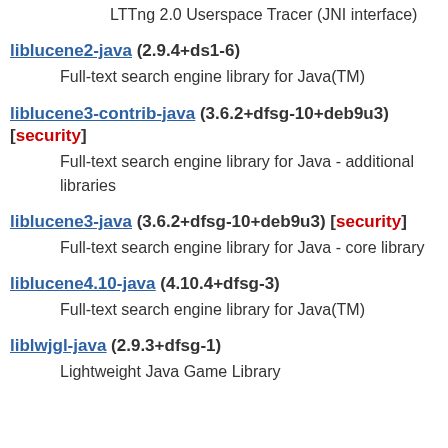LTTng 2.0 Userspace Tracer (JNI interface)
liblucene2-java (2.9.4+ds1-6) Full-text search engine library for Java(TM)
liblucene3-contrib-java (3.6.2+dfsg-10+deb9u3) [security] Full-text search engine library for Java - additional libraries
liblucene3-java (3.6.2+dfsg-10+deb9u3) [security] Full-text search engine library for Java - core library
liblucene4.10-java (4.10.4+dfsg-3) Full-text search engine library for Java(TM)
liblwjgl-java (2.9.3+dfsg-1) Lightweight Java Game Library